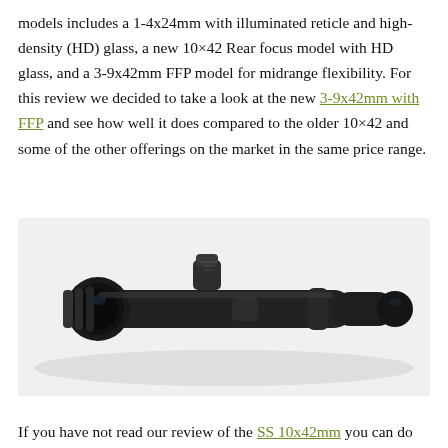models includes a 1-4x24mm with illuminated reticle and high-density (HD) glass, a new 10×42 Rear focus model with HD glass, and a 3-9x42mm FFP model for midrange flexibility. For this review we decided to take a look at the new 3-9x42mm with FFP and see how well it does compared to the older 10×42 and some of the other offerings on the market in the same price range.
[Figure (photo): Photograph of a black rifle scope (3-9x42mm FFP) lying on a white surface, showing the objective lens, turret housing, and eyepiece.]
If you have not read our review of the SS 10x42mm you can do